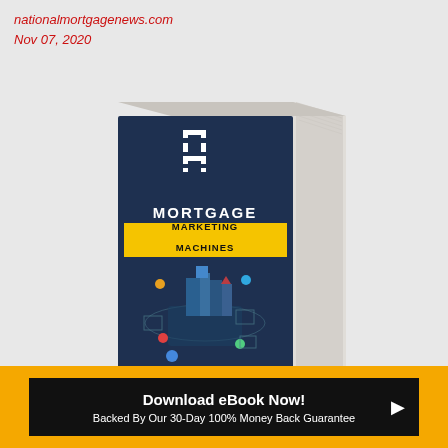nationalmortgagenews.com
Nov 07, 2020
[Figure (illustration): 3D book cover for 'Mortgage Marketing Machines' with dark navy blue cover, white MM logo at top, yellow highlighted title 'MARKETING MACHINES', subtitle 'MORTGAGE' above, isometric city/building illustration in lower section, text 'A PROVEN SYSTEM FOR GENE... MORE...' at bottom. Book shown at angle with pages visible on right and top.]
Download eBook Now!
Backed By Our 30-Day 100% Money Back Guarantee